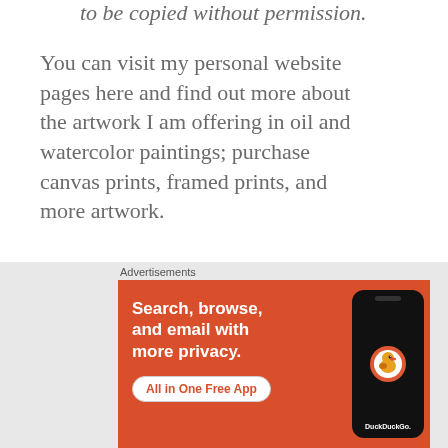to be copied without permission.
You can visit my personal website pages here and find out more about the artwork I am offering in oil and watercolor paintings; purchase canvas prints, framed prints, and more artwork.
My favourite art store in Toronto Deserres, Spadina Ave
[Figure (other): CONTACT ARTIST button with teal gradient background and dark border]
Name (required)
[Figure (screenshot): DuckDuckGo advertisement banner: orange background with text 'Search, browse, and email with more privacy. All in One Free App' and a phone image with DuckDuckGo logo]